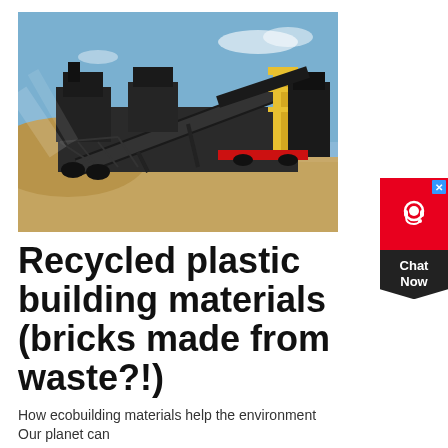[Figure (photo): Industrial machinery/processing plant with conveyor belts and construction equipment on a sandy site under a blue sky.]
Recycled plastic building materials (bricks made from waste?!)
How ecobuilding materials help the environment Our planet can